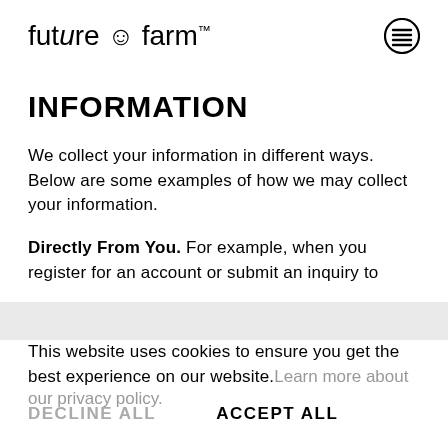future © farm™
INFORMATION
We collect your information in different ways. Below are some examples of how we may collect your information.
Directly From You. For example, when you register for an account or submit an inquiry to
This website uses cookies to ensure you get the best experience on our website. Learn more about our privacy policy.
DECLINE ALL    ACCEPT ALL